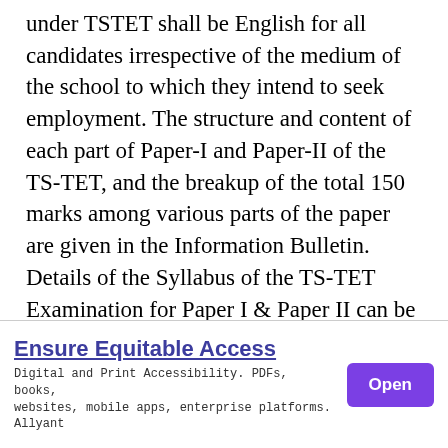under TSTET shall be English for all candidates irrespective of the medium of the school to which they intend to seek employment. The structure and content of each part of Paper-I and Paper-II of the TS-TET, and the breakup of the total 150 marks among various parts of the paper are given in the Information Bulletin. Details of the Syllabus of the TS-TET Examination for Paper I & Paper II can be
[Figure (other): Advertisement banner: 'Ensure Equitable Access' with subtitle text about Digital and Print Accessibility, PDFs, books, websites, mobile apps, enterprise platforms by Allyant. Has an 'Open' button in purple.]